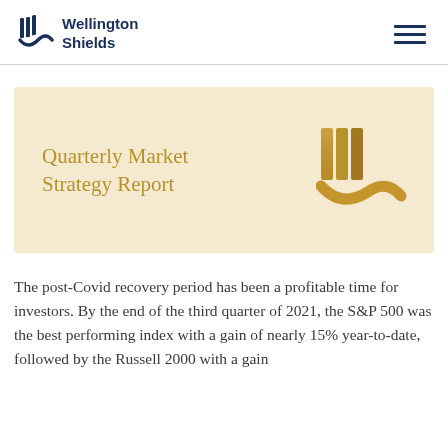[Figure (logo): Wellington Shields company logo with stylized WS icon and company name in dark navy blue]
Quarterly Market Strategy Report
The post-Covid recovery period has been a profitable time for investors. By the end of the third quarter of 2021, the S&P 500 was the best performing index with a gain of nearly 15% year-to-date, followed by the Russell 2000 with a gain